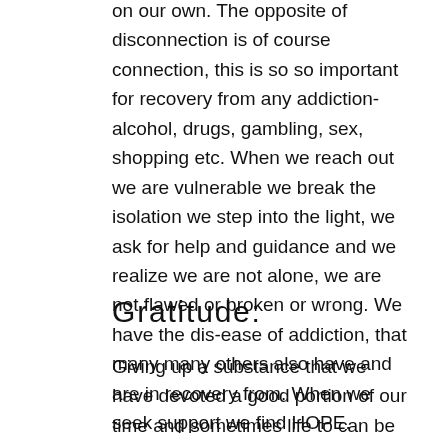on our own. The opposite of disconnection is of course connection, this is so so important for recovery from any addiction- alcohol, drugs, gambling, sex, shopping etc. When we reach out we are vulnerable we break the isolation we step into the light, we ask for help and guidance and we realize we are not alone, we are not flawed or broken or wrong. We have the dis-ease of addiction, that many many others also have and are in recovery from. When we seek support we find HOPE.
Gratitude:
Giving up a substance that we have devoted a good portion of our time and sometimes life to can be upsetting. We have relied on the alcohol and drugs